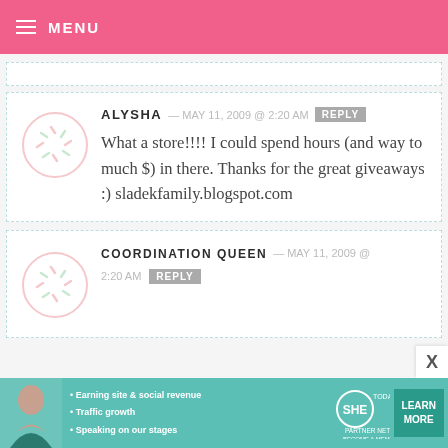MENU
ALYSHA — MAY 11, 2009 @ 2:20 AM  REPLY
What a store!!!! I could spend hours (and way to much $) in there. Thanks for the great giveaways :) sladekfamily.blogspot.com
COORDINATION QUEEN — MAY 11, 2009 @ 2:20 AM  REPLY